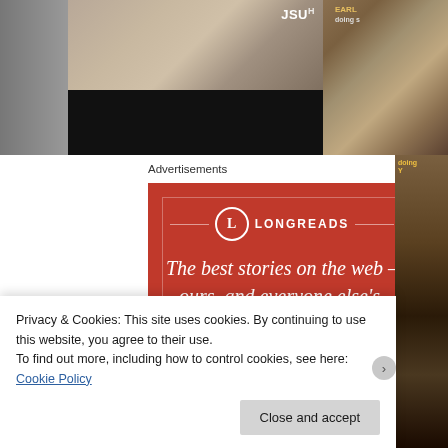[Figure (photo): Partial view of people at an event, with JSU logo visible in upper right corner. Dark bottom portion shows a stage or indoor venue.]
Advertisements
[Figure (illustration): Longreads advertisement on red background. Shows the Longreads logo (circle with L) and text 'The best stories on the web – ours, and everyone else's.' with a subscribe button at the bottom.]
Privacy & Cookies: This site uses cookies. By continuing to use this website, you agree to their use.
To find out more, including how to control cookies, see here: Cookie Policy
Close and accept